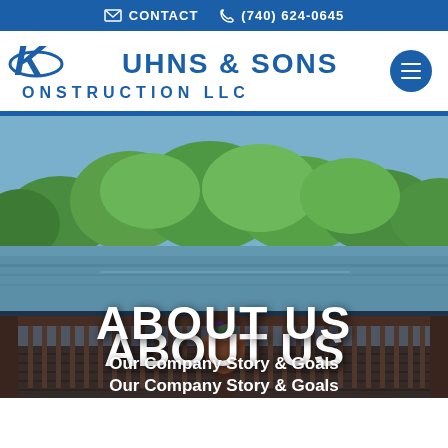CONTACT  (740) 624-0645
[Figure (logo): Kuhns & Sons Konstruction LLC logo with stylized K and ellipse]
[Figure (photo): Outdoor deck with railing overlooking a lake with green trees in background, with a flower pot on the deck]
ABOUT US
Our Company Story & Goals